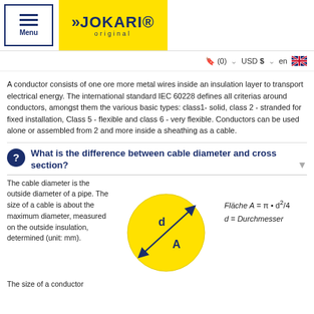Menu | JOKARI original
A conductor consists of one ore more metal wires inside an insulation layer to transport electrical energy. The international standard IEC 60228 defines all criterias around conductors, amongst them the various basic types: class1- solid, class 2 - stranded for fixed installation, Class 5 - flexible and class 6 - very flexible. Conductors can be used alone or assembled from 2 and more inside a sheathing as a cable.
What is the difference between cable diameter and cross section?
The cable diameter is the outside diameter of a pipe. The size of a cable is about the maximum diameter, measured on the outside insulation, determined (unit: mm).
[Figure (engineering-diagram): Yellow circle representing a cable cross-section with diameter line labeled 'd' from top-right to bottom-left with arrows, and area labeled 'A' in the center.]
The size of a conductor